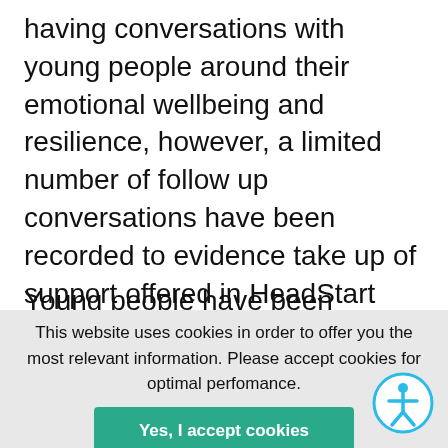having conversations with young people around their emotional wellbeing and resilience, however, a limited number of follow up conversations have been recorded to evidence take up of support offered in HeadStart Kent schools and communities.
Young people have been involved in the
This website uses cookies in order to offer you the most relevant information. Please accept cookies for optimal perfomance.
Yes, I accept cookies
More info